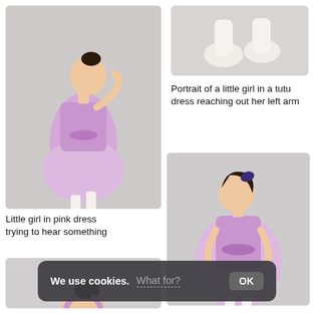[Figure (photo): Little girl in pink/lavender tutu dress standing, hand raised to ear, white tights, light grey background]
Little girl in pink dress trying to hear something
[Figure (photo): Close-up of feet/legs in white tights and ballet shoes on grey background]
Portrait of a little girl in a tutu dress reaching out her left arm
[Figure (photo): Little girl in pink/lavender tutu dress looking down, white tights, light grey background]
Little girl in pink dress
[Figure (photo): Partial view of girl in pink tutu dress, cropped at bottom of page]
We use cookies. What for? OK